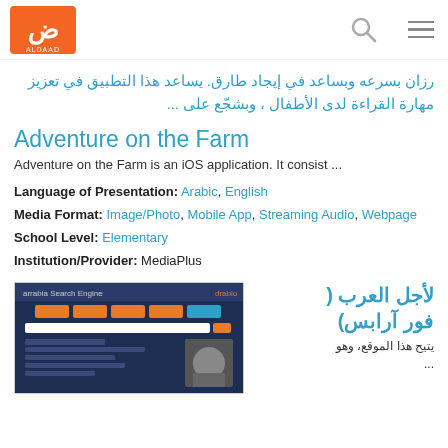ALDAAD logo, search icon, menu icon
رزان بسرعه وبساعد في إيجاد طارق. يساعد هذا التطبيق في تعزيز مهارة القراءة لدى الأطفال ، وبشجّع على ...
Adventure on the Farm
Adventure on the Farm is an iOS application. It consist ...
Language of Presentation: Arabic, English
Media Format: Image/Photo, Mobile App, Streaming Audio, Webpage
School Level: Elementary
Institution/Provider: MediaPlus
[Figure (screenshot): Screenshot of Arrabia Search Engine website interface with navigation menu and dark blue background]
لأجل العرب ( فور آرابس)
يتيح هذا الموقع، وهو